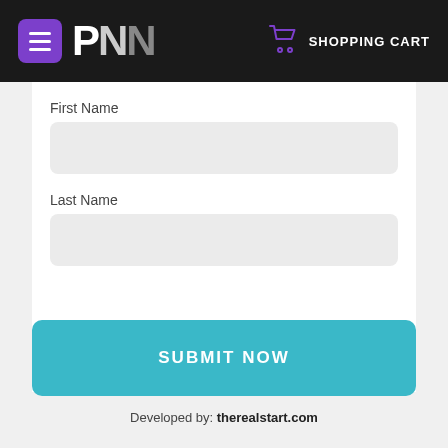PNN  SHOPPING CART
First Name
Last Name
SUBMIT NOW
Developed by: therealstart.com